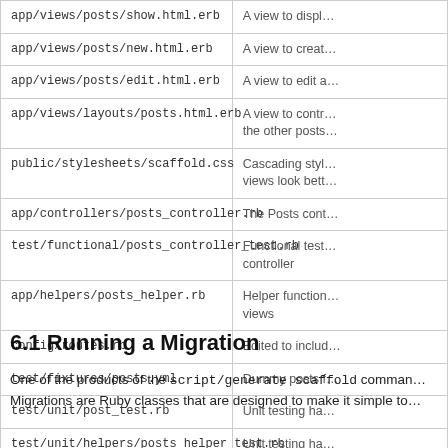| File | Purpose |
| --- | --- |
| app/views/posts/show.html.erb | A view to displ… |
| app/views/posts/new.html.erb | A view to creat… |
| app/views/posts/edit.html.erb | A view to edit a… |
| app/views/layouts/posts.html.erb | A view to contr… the other posts… |
| public/stylesheets/scaffold.css | Cascading styl… views look bett… |
| app/controllers/posts_controller.rb | The Posts cont… |
| test/functional/posts_controller_test.rb | Functional test… controller |
| app/helpers/posts_helper.rb | Helper function… views |
| config/routes.rb | Edited to includ… |
| test/fixtures/posts.yml | Dummy posts f… |
| test/unit/post_test.rb | Unit testing ha… |
| test/unit/helpers/posts_helper_test.rb | Unit testing ha… |
6.1 Running a Migration
One of the products of the script/generate scaffold comman… Migrations are Ruby classes that are designed to make it simple to…